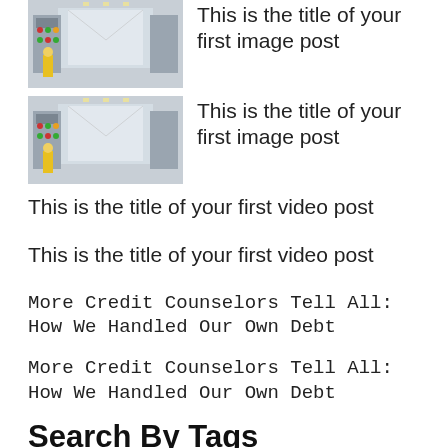[Figure (photo): Thumbnail image of industrial corridor with control panels and yellow safety markings]
This is the title of your first image post
[Figure (photo): Thumbnail image of industrial corridor with control panels and yellow safety markings]
This is the title of your first image post
This is the title of your first video post
This is the title of your first video post
More Credit Counselors Tell All: How We Handled Our Own Debt
More Credit Counselors Tell All: How We Handled Our Own Debt
Search By Tags